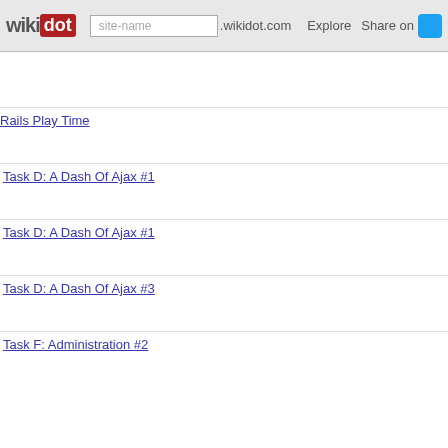wikidot | site-name .wikidot.com | Explore | Share on
Play Time S 5 Jun 2009 - 23:18:39 (rev. 3) pr
Rails Play Time S 5 Jun 2009 - 23:17:59 (rev. 2) pr
Task D: A Dash Of Ajax #1 S 3 Jun 2009 - 08:56:20 (rev. 15) NM
Task D: A Dash Of Ajax #1 S 3 Jun 2009 - 08:54:21 (rev. 14) NM
Task D: A Dash Of Ajax #3 S 3 Jun 2009 - 05:28:38 (rev. 4) NM
Task F: Administration #2 S 23 May 2009 - 22:30:2...